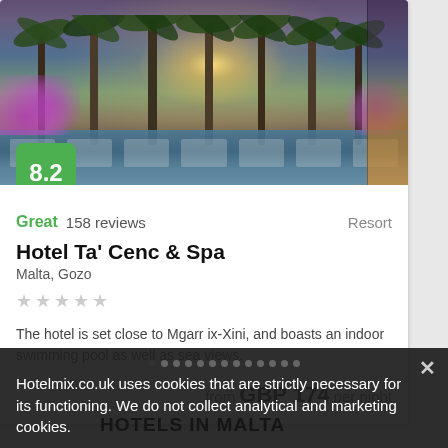[Figure (photo): Hotel pool area with palm trees and sunset sky, outdoor loungers and purple flowering plants]
Great 158 reviews   Resort
Hotel Ta' Cenc & Spa
Malta, Gozo
★★★★★
The hotel is set close to Mgarr ix-Xini, and boasts an indoor swimming pool as well as sea views.
from GBP 174 per night
Hotelmix.co.uk uses cookies that are strictly necessary for its functioning. We do not collect analytical and marketing cookies.
HOTELS IN MALTA